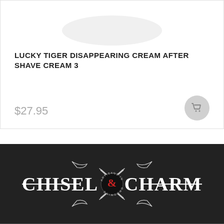[Figure (photo): Product image area showing top of a white cream jar/container on a white background]
LUCKY TIGER DISAPPEARING CREAM AFTER SHAVE CREAM 3
$27.95
[Figure (logo): Chisel & Charm logo — white text on dark background with decorative straight razors around a circular badge reading ARTISANS IN GROOMING with an ampersand in red]